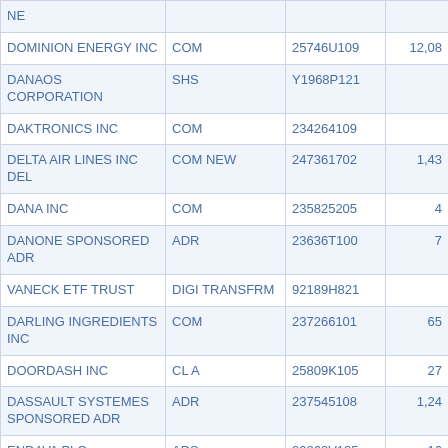| Name | Type | CUSIP | Shares/Amount |
| --- | --- | --- | --- |
| NE |  |  |  |
| DOMINION ENERGY INC | COM | 25746U109 | 12,08 |
| DANAOS CORPORATION | SHS | Y1968P121 |  |
| DAKTRONICS INC | COM | 234264109 |  |
| DELTA AIR LINES INC DEL | COM NEW | 247361702 | 1,43 |
| DANA INC | COM | 235825205 | 4 |
| DANONE SPONSORED ADR | ADR | 23636T100 | 7 |
| VANECK ETF TRUST | DIGI TRANSFRM | 92189H821 |  |
| DARLING INGREDIENTS INC | COM | 237266101 | 65 |
| DOORDASH INC | CL A | 25809K105 | 27 |
| DASSAULT SYSTEMES SPONSORED ADR | ADR | 237545108 | 1,24 |
| ENDAVA PLC | ADS | 29260V105 | 16 |
| DEUTSCHE BANK A G | NAMEN AKT | D18190898 | 1 |
| INVESCO DR MULTI |  |  |  |